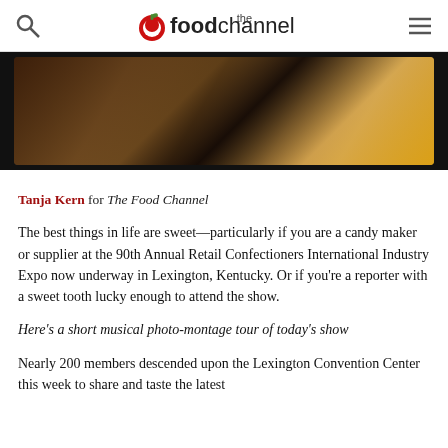the foodchannel
[Figure (photo): Photo of candy and confectionery items on a dark background, shown inside a tablet/device frame]
Tanja Kern for The Food Channel
The best things in life are sweet—particularly if you are a candy maker or supplier at the 90th Annual Retail Confectioners International Industry Expo now underway in Lexington, Kentucky. Or if you're a reporter with a sweet tooth lucky enough to attend the show.
Here's a short musical photo-montage tour of today's show
Nearly 200 members descended upon the Lexington Convention Center this week to share and taste the latest